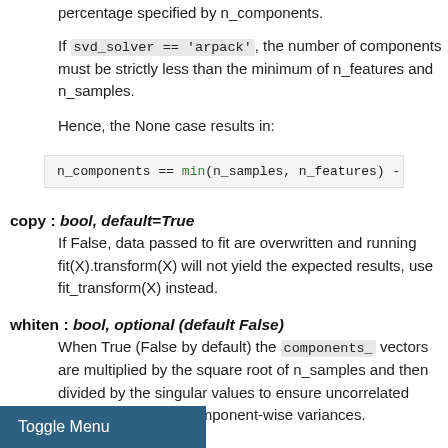percentage specified by n_components.
If svd_solver == 'arpack', the number of components must be strictly less than the minimum of n_features and n_samples.
Hence, the None case results in:
n_components == min(n_samples, n_features) -
copy : bool, default=True
If False, data passed to fit are overwritten and running fit(X).transform(X) will not yield the expected results, use fit_transform(X) instead.
whiten : bool, optional (default False)
When True (False by default) the components_ vectors are multiplied by the square root of n_samples and then divided by the singular values to ensure uncorrelated with unit component-wise variances.
Toggle Menu